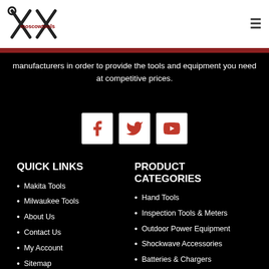[Figure (logo): Moscow Tools logo with crossed tools icon and text 'moscowtools' in dark red]
manufacturers in order to provide the tools and equipment you need at competitive prices.
[Figure (infographic): Three social media icons: Facebook, Twitter, YouTube — white squares with red icons]
QUICK LINKS
Makita Tools
Milwaukee Tools
About Us
Contact Us
My Account
Sitemap
PRODUCT CATEGORIES
Hand Tools
Inspection Tools & Meters
Outdoor Power Equipment
Shockwave Accessories
Batteries & Chargers